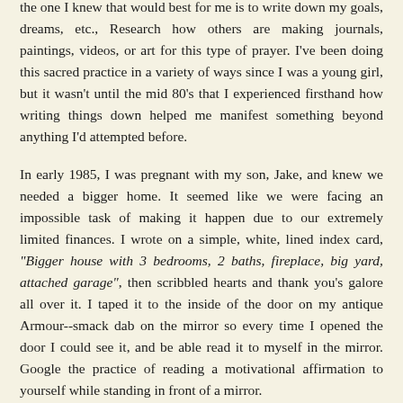the one I knew that would best for me is to write down my goals, dreams, etc., Research how others are making journals, paintings, videos, or art for this type of prayer. I've been doing this sacred practice in a variety of ways since I was a young girl, but it wasn't until the mid 80's that I experienced firsthand how writing things down helped me manifest something beyond anything I'd attempted before.
In early 1985, I was pregnant with my son, Jake, and knew we needed a bigger home. It seemed like we were facing an impossible task of making it happen due to our extremely limited finances. I wrote on a simple, white, lined index card, "Bigger house with 3 bedrooms, 2 baths, fireplace, big yard, attached garage", then scribbled hearts and thank you's galore all over it. I taped it to the inside of the door on my antique Armour--smack dab on the mirror so every time I opened the door I could see it, and be able read it to myself in the mirror. Google the practice of reading a motivational affirmation to yourself while standing in front of a mirror.
Guess what? Within a year, we manifested everything on the list, in an area we wanted to live in and miraculously sold the smaller home we were living in at a price no one thought we